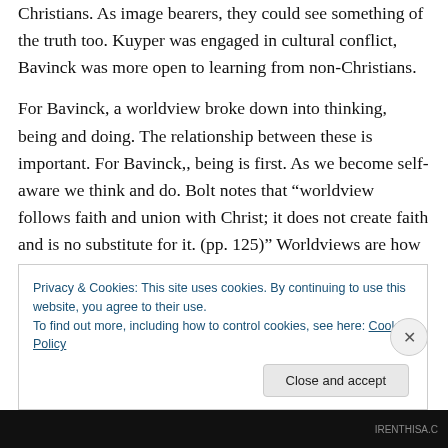Christians. As image bearers, they could see something of the truth too. Kuyper was engaged in cultural conflict, Bavinck was more open to learning from non-Christians.
For Bavinck, a worldview broke down into thinking, being and doing. The relationship between these is important. For Bavinck,, being is first. As we become self-aware we think and do. Bolt notes that “worldview follows faith and union with Christ; it does not create faith and is no substitute for it. (pp. 125)” Worldviews are how we navigate our way through the world, other humans and God.
Privacy & Cookies: This site uses cookies. By continuing to use this website, you agree to their use.
To find out more, including how to control cookies, see here: Cookie Policy